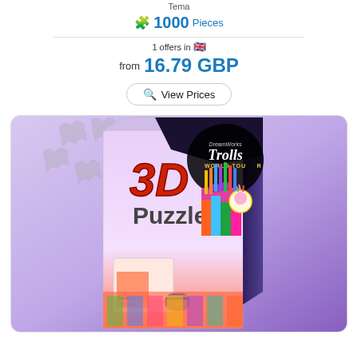1000 Pieces
1 offers in 🇬🇧
from 16.79 GBP
View Prices
[Figure (photo): Product box image of Ravensburger 3D Puzzle Trolls World Tour - a colorful puzzle box showing '3D Puzzle' branding with a pencil holder shaped product and Trolls World Tour DreamWorks branding.]